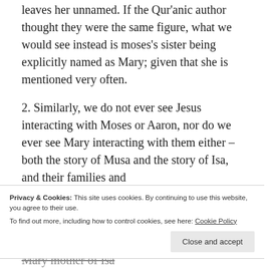leaves her unnamed. If the Qur'anic author thought they were the same figure, what we would see instead is moses's sister being explicitly named as Mary; given that she is mentioned very often.
2. Similarly, we do not ever see Jesus interacting with Moses or Aaron, nor do we ever see Mary interacting with them either – both the story of Musa and the story of Isa, and their families and
Privacy & Cookies: This site uses cookies. By continuing to use this website, you agree to their use.
To find out more, including how to control cookies, see here: Cookie Policy
Close and accept
that their stories are distinct stories where Mary mother of Isa